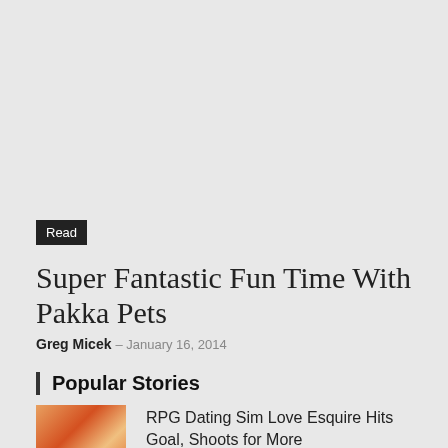Read
Super Fantastic Fun Time With Pakka Pets
Greg Micek – January 16, 2014
Popular Stories
[Figure (photo): Thumbnail image for RPG Dating Sim story, colorful warm tones]
RPG Dating Sim Love Esquire Hits Goal, Shoots for More
[Figure (photo): Thumbnail image for The Game Developer story, dark red tones with faces]
The Game Developer Jailed for Child Porn